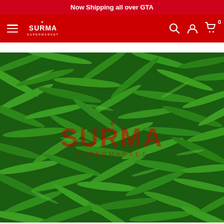Now Shipping all over GTA
[Figure (logo): Surma Supermarket red navigation bar with hamburger menu, Surma Supermarket logo, search icon, account icon, and cart icon with badge 0]
[Figure (photo): A large pile of fresh green chili peppers filling the entire frame, with a semi-transparent red Surma Supermarket watermark logo in the center]